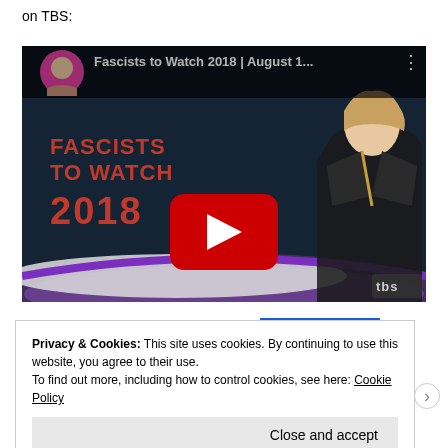on TBS:
[Figure (screenshot): YouTube video thumbnail for 'Fascists to Watch 2018 | August 1...' showing a woman in a black blazer on a TV set with 'FASCISTS TO WATCH 2018' text on screen, a red YouTube play button overlay, and a TBS logo in the bottom right. A circular profile photo of a woman appears in the top left.]
SEE PRICING
Privacy & Cookies: This site uses cookies. By continuing to use this website, you agree to their use.
To find out more, including how to control cookies, see here: Cookie Policy
Close and accept